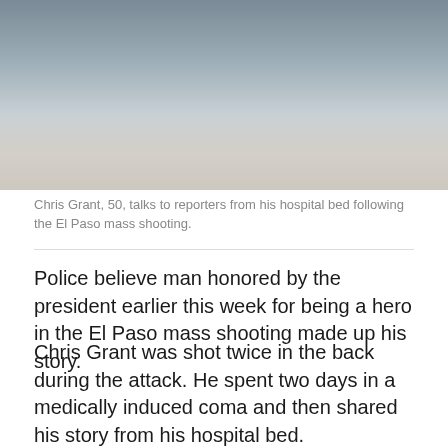[Figure (photo): Chris Grant, 50, lying in a hospital bed wearing a hospital gown, viewed from shoulders up.]
Chris Grant, 50, talks to reporters from his hospital bed following the El Paso mass shooting.
Police believe man honored by the president earlier this week for being a hero in the El Paso mass shooting made up his story.
Chris Grant was shot twice in the back during the attack. He spent two days in a medically induced coma and then shared his story from his hospital bed.
The 50-year-old initially told reporters he was shot by the gunman in Walmart after he threw soda bottles to distract him.